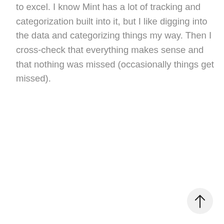to excel. I know Mint has a lot of tracking and categorization built into it, but I like digging into the data and categorizing things my way. Then I cross-check that everything makes sense and that nothing was missed (occasionally things get missed).
[Figure (other): Back-to-top button: a circular light grey button with an upward-pointing arrow icon]